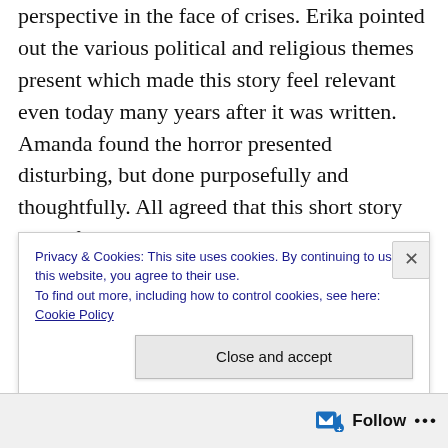perspective in the face of crises. Erika pointed out the various political and religious themes present which made this story feel relevant even today many years after it was written. Amanda found the horror presented disturbing, but done purposefully and thoughtfully. All agreed that this short story was a frightening take on violence and vulnerability that was written with a many-layered and multi-faceted masterful hand.

Listen in on this episode's riveting conversation about an author who was far ahead of her time and her award-winning story of science fiction horror!
Privacy & Cookies: This site uses cookies. By continuing to use this website, you agree to their use.
To find out more, including how to control cookies, see here: Cookie Policy
Close and accept
Follow ···